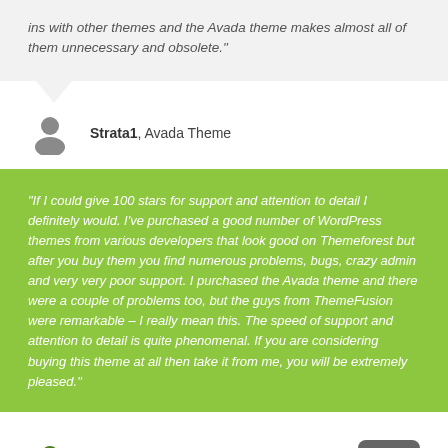ins with other themes and the Avada theme makes almost all of them unnecessary and obsolete."
Strata1, Avada Theme
"If I could give 100 stars for support and attention to detail I definitely would. I've purchased a good number of WordPress themes from various developers that look good on Themeforest but after you buy them you find numerous problems, bugs, crazy admin and very very poor support. I purchased the Avada theme and there were a couple of problems too, but the guys from ThemeFusion were remarkable – I really mean this. The speed of support and attention to detail is quite phenomenal. If you are considering buying this theme at all then take it from me, you will be extremely pleased."
Stuartyboy, Avada Theme